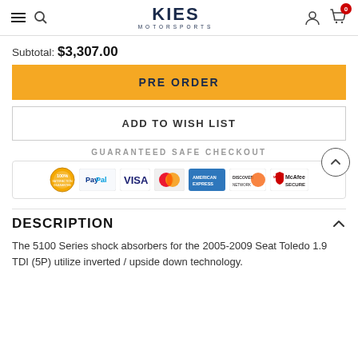KIES MOTORSPORTS — navigation header with hamburger, search, logo, account, cart (0)
Subtotal: $3,307.00
PRE ORDER
ADD TO WISH LIST
[Figure (infographic): Guaranteed Safe Checkout badge with PayPal, Visa, Mastercard, American Express, Discover, and McAfee Secure logos]
DESCRIPTION
The 5100 Series shock absorbers for the 2005-2009 Seat Toledo 1.9 TDI (5P) utilize inverted / upside down technology.